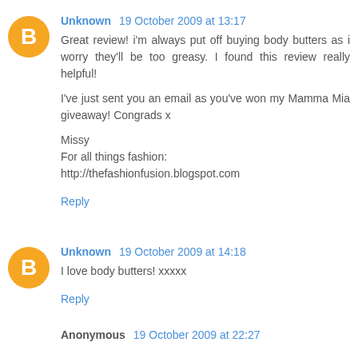Unknown 19 October 2009 at 13:17
Great review! i'm always put off buying body butters as i worry they'll be too greasy. I found this review really helpful!

I've just sent you an email as you've won my Mamma Mia giveaway! Congrads x

Missy
For all things fashion:
http://thefashionfusion.blogspot.com
Reply
Unknown 19 October 2009 at 14:18
I love body butters! xxxxx
Reply
Anonymous 19 October 2009 at 22:27